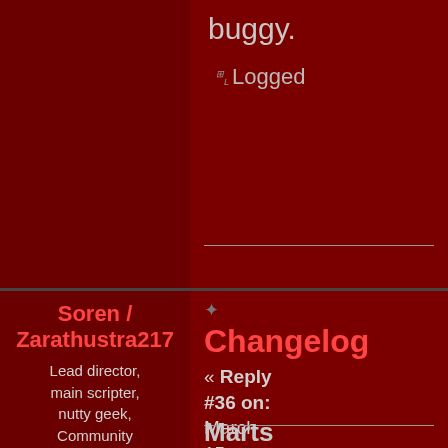buggy.
Logged
Soren / Zarathustra217
Lead director, main scripter, nutty geek, Community Council Administrator Dark Power
[Figure (illustration): Bat silhouette illustration in dark gray/black]
Changelog
« Reply #36 on: March 15, 2006, 02:05:01 PM »
Marts